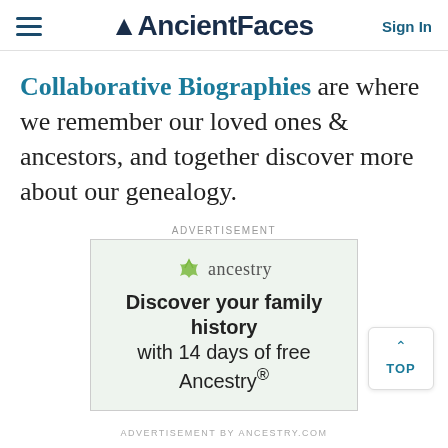≡  AncientFaces  Sign In
Collaborative Biographies are where we remember our loved ones & ancestors, and together discover more about our genealogy.
ADVERTISEMENT
[Figure (screenshot): Ancestry.com advertisement banner with leaf logo and text: Discover your family history with 14 days of free Ancestry®]
ADVERTISEMENT BY ANCESTRY.COM